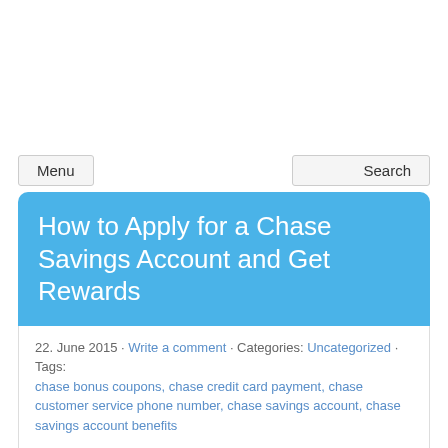Menu   Search
How to Apply for a Chase Savings Account and Get Rewards
22. June 2015 · Write a comment · Categories: Uncategorized · Tags: chase bonus coupons, chase credit card payment, chase customer service phone number, chase savings account, chase savings account benefits
Are you interested to apply for a savings account and enjoy some benefits and bonus deals? JP Morgan Chase Bank is offering savings account services in more than 5,000 branches across the States. Find out everything you need to know about Chase savings account options